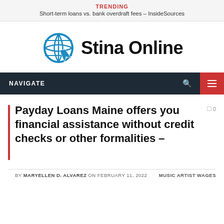TRENDING
Short-term loans vs. bank overdraft fees – InsideSources
[Figure (logo): Stina Online logo: blue globe with cursor icon and bold black text 'Stina Online']
Payday Loans Maine offers you financial assistance without credit checks or other formalities –
BY MARYELLEN D. ALVAREZ ON FEBRUARY 11, 2022   MUSIC ARTIST WAGES